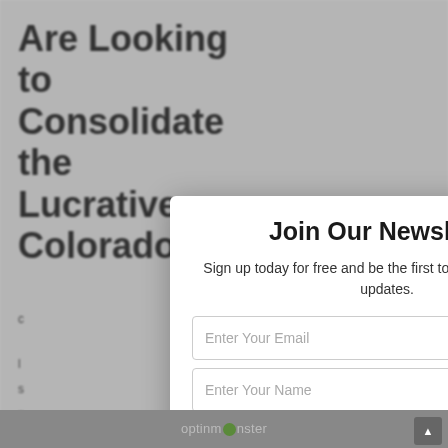Are Looking to Consolidate the Lucrative Colorado
[Figure (screenshot): Newsletter signup modal popup overlay on a webpage. The modal contains a title 'Join Our Newsletter', subtitle text, email and name input fields, a green SUBSCRIBE button, and privacy note. Background shows a partially visible article title.]
Join Our Newsletter
Sign up today for free and be the first to get notified on new updates.
Enter Your Email
Enter Your Name
SUBSCRIBE
We do not sell or share your information with anyone.
optinmonster